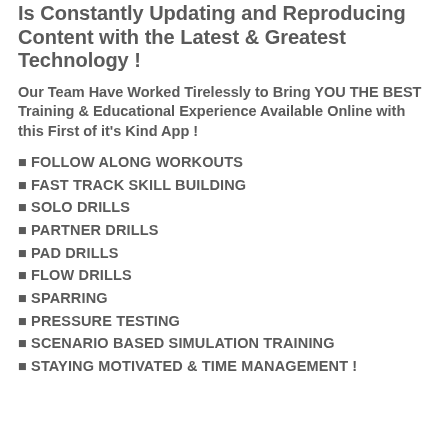Is Constantly Updating and Reproducing Content with the Latest & Greatest Technology !
Our Team Have Worked Tirelessly to Bring YOU THE BEST Training & Educational Experience Available Online with this First of it's Kind App !
FOLLOW ALONG WORKOUTS
FAST TRACK SKILL BUILDING
SOLO DRILLS
PARTNER DRILLS
PAD DRILLS
FLOW DRILLS
SPARRING
PRESSURE TESTING
SCENARIO BASED SIMULATION TRAINING
STAYING MOTIVATED & TIME MANAGEMENT !